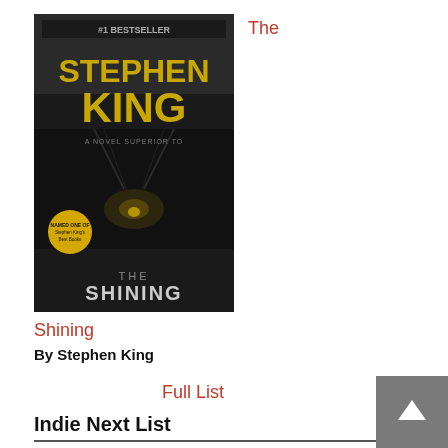[Figure (photo): Book cover of The Shining by Stephen King — dark cover with text STEPHEN KING in yellow/gold and THE SHINING at the bottom, spine text #1 BESTSELLER]
The
Shining
By Stephen King
Full List
Indie Next List
[Figure (photo): Book cover of The Many Daughters of Afong Moy: A Novel by Jamie Ford — dark teal cover with author name JAMIE FORD in large text and book title THE MANY DAUGHTERS OF AFONG MOY at the bottom]
The Many Daughters of Afong Moy: A Novel
By Jamie Ford